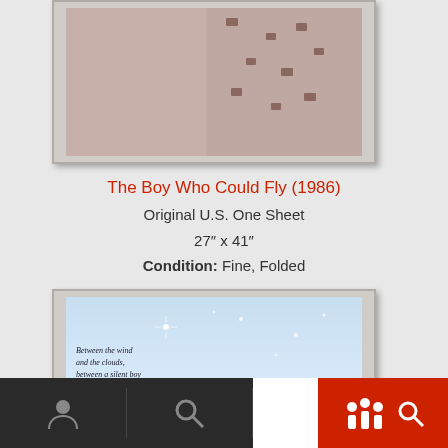[Figure (photo): Movie poster for 'The Boy Who Could Fly' (1986) - shows title text and film credits on a pinkish background with a figure]
The Boy Who Could Fly (1986)
Original U.S. One Sheet
27" x 41"
Condition: Fine, Folded
[Figure (photo): Back of movie poster for 'The Boy Who Could Fly' showing sky background with text: 'Between the wind and the clouds, between a silent boy and a beautiful girl, lies an amazing secret.']
[Figure (screenshot): Bottom navigation bar with person icon, search icon, and red/white action buttons]